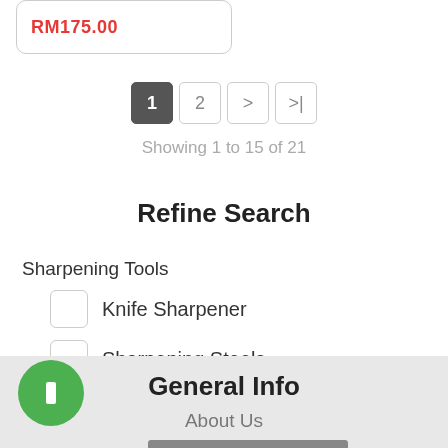RM175.00
1  2  >  >|
Showing 1 to 15 of 21
Refine Search
Sharpening Tools
Knife Sharpener
Sharpening Steels
Sharpening Stone
Refine Search
General Info
About Us